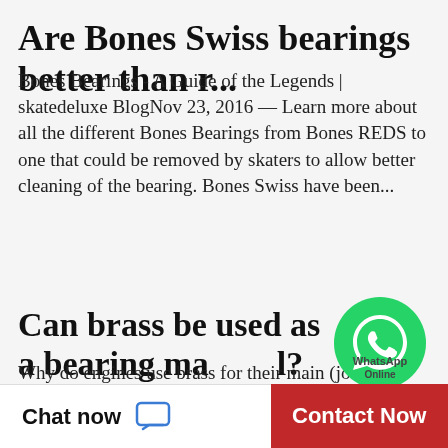Are Bones Swiss bearings better than r...
Bones Bearings - A Guide of the Legends | skatedeluxe BlogNov 23, 2016 — Learn more about all the different Bones Bearings from Bones REDS to one that could be removed by skaters to allow better cleaning of the bearing. Bones Swiss have been...
Can brass be used as a bearing ma...l?
[Figure (logo): WhatsApp green circle logo with phone icon, with 'WhatsApp Online' text label]
Why do engines use brass for their main (journal) bearingsOriginally Answered: Why we used brass cage in bearing? Mainly in bearings three makes of cage are mainly used: a. Pressed Steel Cage. b. Solid Brass cage Why use bushings of different...
How do I know if my clutch release be...
Chat now
Contact Now